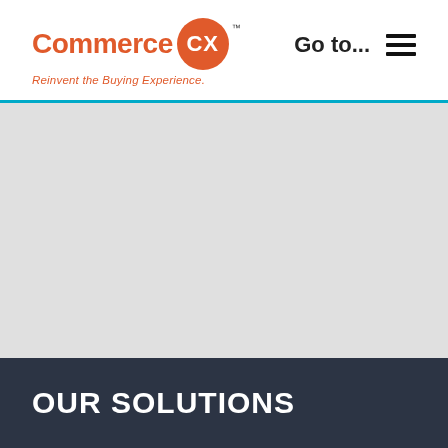Commerce CX™ — Reinvent the Buying Experience.
[Figure (logo): CommerceCX logo: orange text 'Commerce' followed by orange circle with white 'CX' text and TM mark, with tagline 'Reinvent the Buying Experience.' in orange italic below]
Go to...
[Figure (illustration): Light gray hero image placeholder area]
OUR SOLUTIONS